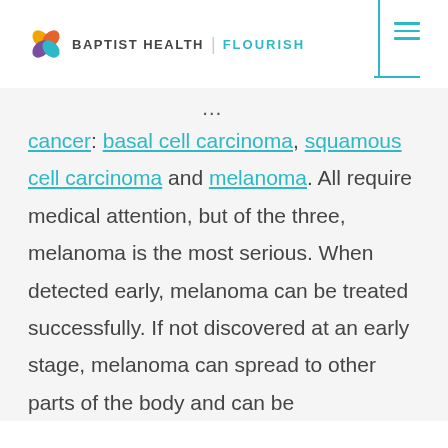BAPTIST HEALTH | FLOURISH
cancer: basal cell carcinoma, squamous cell carcinoma and melanoma. All require medical attention, but of the three, melanoma is the most serious. When detected early, melanoma can be treated successfully. If not discovered at an early stage, melanoma can spread to other parts of the body and can be